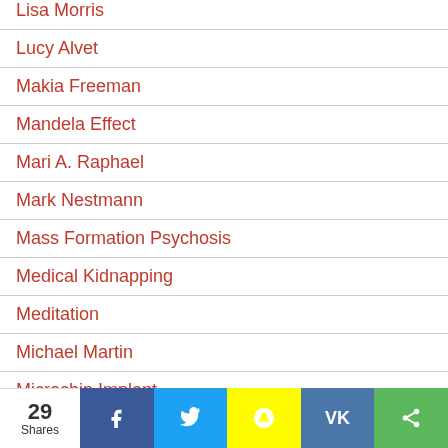Lisa Morris
Lucy Alvet
Makia Freeman
Mandela Effect
Mari A. Raphael
Mark Nestmann
Mass Formation Psychosis
Medical Kidnapping
Meditation
Michael Martin
Microchip Implant
Migrant Crisis
29 Shares | Facebook | Twitter | Snapchat | VK | Share